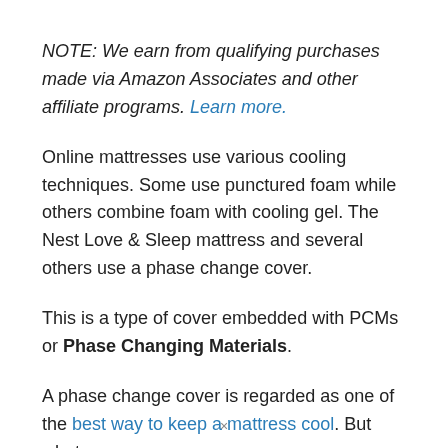NOTE: We earn from qualifying purchases made via Amazon Associates and other affiliate programs. Learn more.
Online mattresses use various cooling techniques. Some use punctured foam while others combine foam with cooling gel. The Nest Love & Sleep mattress and several others use a phase change cover.
This is a type of cover embedded with PCMs or Phase Changing Materials.
A phase change cover is regarded as one of the best way to keep a mattress cool. But what